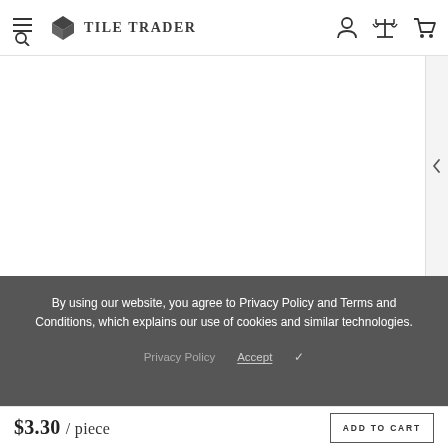Tile Trader — navigation header with search, user, compare, and cart icons
[Figure (screenshot): White product image area with a right-facing chevron/arrow button on the right edge]
By using our website, you agree to Privacy Policy and Terms and Conditions, which explains our use of cookies and similar technologies.
Privacy Policy   Accept ✓
$3.30 / piece
ADD TO CART